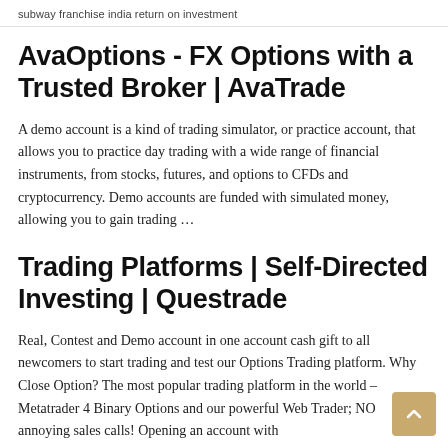subway franchise india return on investment
AvaOptions - FX Options with a Trusted Broker | AvaTrade
A demo account is a kind of trading simulator, or practice account, that allows you to practice day trading with a wide range of financial instruments, from stocks, futures, and options to CFDs and cryptocurrency. Demo accounts are funded with simulated money, allowing you to gain trading …
Trading Platforms | Self-Directed Investing | Questrade
Real, Contest and Demo account in one account cash gift to all newcomers to start trading and test our Options Trading platform. Why Close Option? The most popular trading platform in the world – Metatrader 4 Binary Options and our powerful Web Trader; NO annoying sales calls! Opening an account with